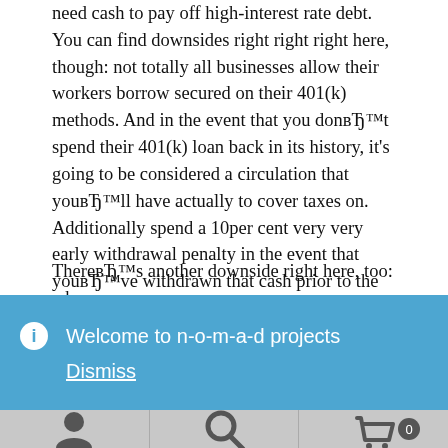need cash to pay off high-interest rate debt. You can find downsides right right right here, though: not totally all businesses allow their workers borrow secured on their 401(k) methods. And in the event that you donвЂ™t spend their 401(k) loan back in its history, it's going to be considered a circulation that youвЂ™ll have actually to cover taxes on. Additionally spend a 10per cent very very early withdrawal penalty in the event that youвЂ™ve withdrawn that cash prior to the chronilogical age of 59-and-a-half.
ThereвЂ™s another downside right here, too: whenever
ℹ Welcome to n-o-m-a-d projects
Dismiss